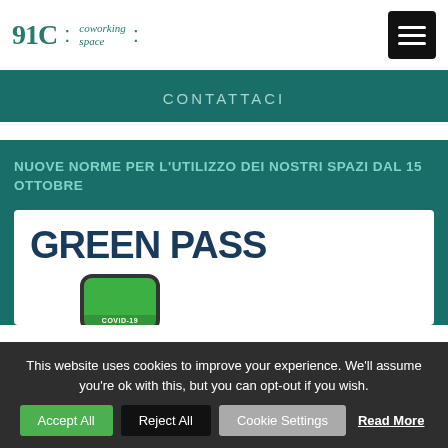91C : coworking space :
CONTATTACI
NUOVE NORME PER L'UTILIZZO DEI NOSTRI SPAZI DAL 15 OTTOBRE
[Figure (illustration): Green Pass promotional image showing bold text 'GREEN PASS' with a smartphone mockup displaying a green COVID-19 certificate screen]
This website uses cookies to improve your experience. We'll assume you're ok with this, but you can opt-out if you wish.
Accept All
Reject All
Cookie Settings
Read More